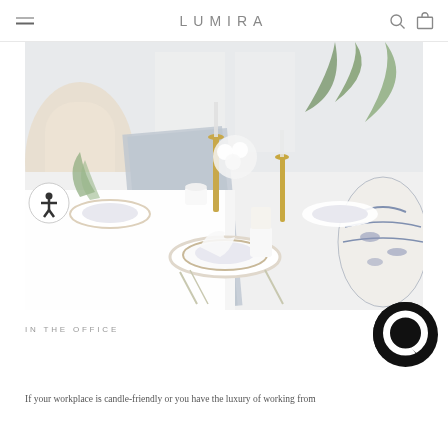LUMIRA
[Figure (photo): Elegant dining table set with white tablecloth and a blue-grey patterned table runner, featuring gold candlesticks, white floral arrangements, blue and white patterned plates and a large decorative vase. Cream-colored chairs visible in background.]
IN THE OFFICE
If your workplace is candle-friendly or you have the luxury of working from